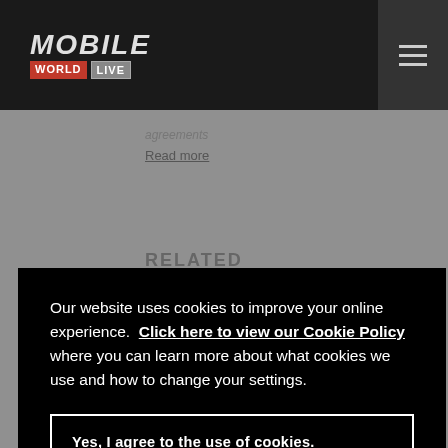[Figure (logo): Mobile World Live logo in dark navigation bar with hamburger menu icon]
agreements
Read more
RELATED
Our website uses cookies to improve your online experience.  Click here to view our Cookie Policy where you can learn more about what cookies we use and how to change your settings.
Yes, I agree to the use of cookies.
Manage Cookies
Telefonica   Vivo